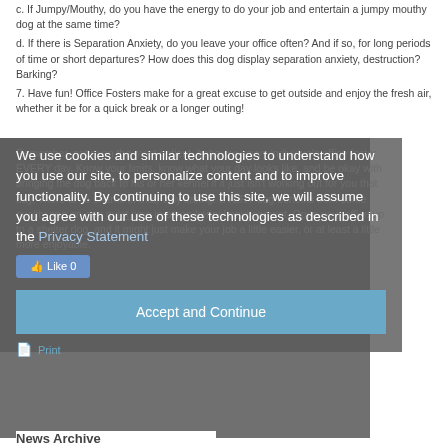c. If Jumpy/Mouthy, do you have the energy to do your job and entertain a jumpy mouthy dog at the same time?
d. If there is Separation Anxiety, do you leave your office often? And if so, for long periods of time or short departures? How does this dog display separation anxiety, destruction? Barking?
7. Have fun! Office Fosters make for a great excuse to get outside and enjoy the fresh air, whether it be for a quick break or a longer outing!
Remember, not even the most patient, behavior-savvy individuals office foster EVERY day. Know your limits, know what your day looks like, and be okay with bringing the dog back to his or her kennel if it just isn't working out for you that day. There is no shame in that, only caring. EVERY dog benefits from some quality one-on-one quiet time in a non-kennel environment. Open your office up to a shelter dog, and it might just make your job a little easier, or at least a little more enjoyable.
We use cookies and similar technologies to understand how you use our site, to personalize content and to improve functionality. By continuing to use this site, we will assume you agree with our use of these technologies as described in the Privacy Statement
Accept and Continue
Print
News Archive